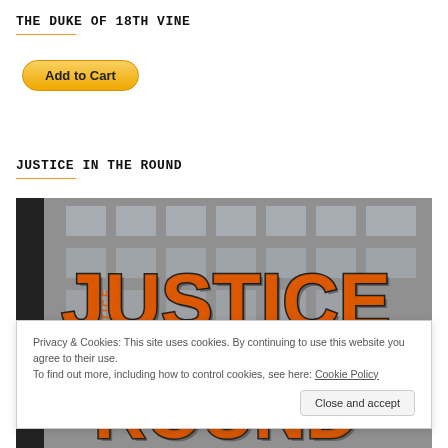THE DUKE OF 18TH VINE
[Figure (other): Add to Cart button - yellow rounded rectangle button with bold text 'Add to Cart']
JUSTICE IN THE ROUND
[Figure (photo): Book cover image showing 'JUSTICE in the ROUND' text in large orange graffiti-style lettering over a black and white photo of a building with windows. A vertical spine text also reads 'JUSTICE'.]
Privacy & Cookies: This site uses cookies. By continuing to use this website you agree to their use. To find out more, including how to control cookies, see here: Cookie Policy
[Figure (other): Close and accept button - grey rounded rectangle button]